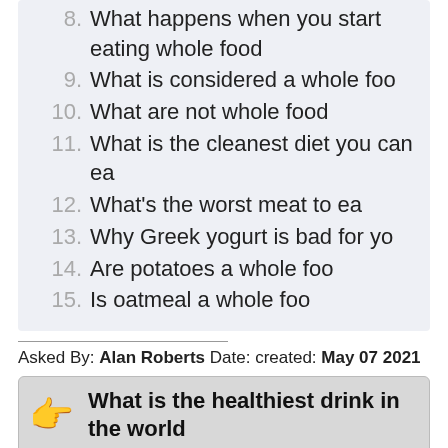8. What happens when you start eating whole food
9. What is considered a whole foo
10. What are not whole food
11. What is the cleanest diet you can ea
12. What's the worst meat to ea
13. Why Greek yogurt is bad for yo
14. Are potatoes a whole foo
15. Is oatmeal a whole foo
Asked By: Alan Roberts Date: created: May 07 2021
What is the healthiest drink in the world
Answered By: Kyle Russell Date: created: May 10 2021